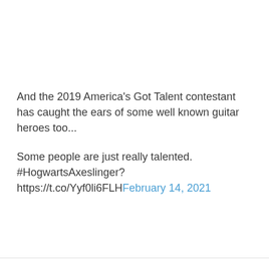And the 2019 America's Got Talent contestant has caught the ears of some well known guitar heroes too...
Some people are just really talented. #HogwartsAxeslinger? https://t.co/Yyf0li6FLHFebruary 14, 2021